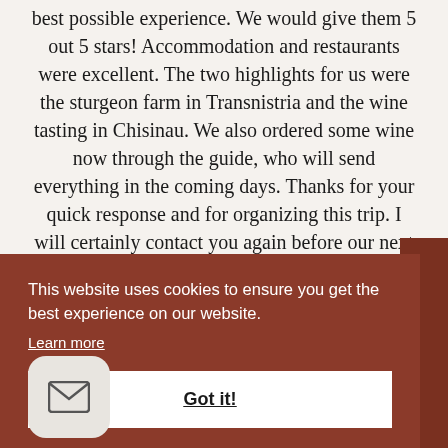best possible experience. We would give them 5 out 5 stars! Accommodation and restaurants were excellent. The two highlights for us were the sturgeon farm in Transnistria and the wine tasting in Chisinau. We also ordered some wine now through the guide, who will send everything in the coming days. Thanks for your quick response and for organizing this trip. I will certainly contact you again before our next trip.
This website uses cookies to ensure you get the best experience on our website. Learn more
Got it!